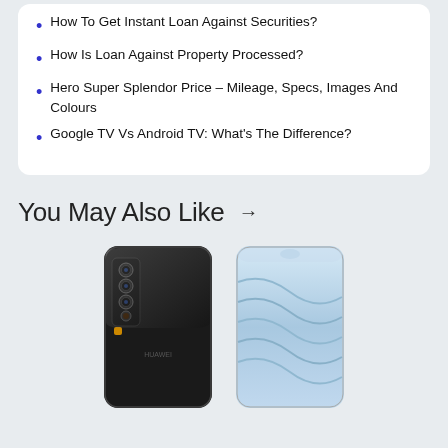How To Get Instant Loan Against Securities?
How Is Loan Against Property Processed?
Hero Super Splendor Price – Mileage, Specs, Images And Colours
Google TV Vs Android TV: What's The Difference?
You May Also Like →
[Figure (photo): Two smartphone views — black back panel showing quad cameras and a light blue front display with notch]